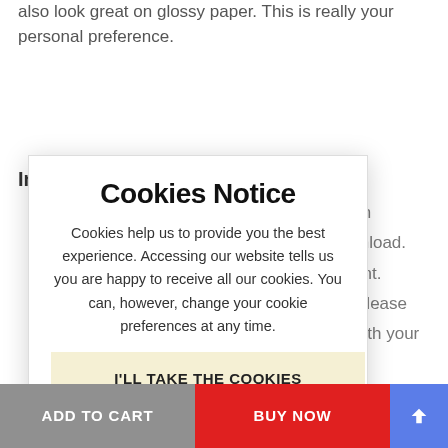also look great on glossy paper. This is really your personal preference.
Important Notes
[Figure (screenshot): Cookie consent modal overlay with title 'Cookies Notice', body text about cookies, and a button 'I'LL TAKE THE COOKIES']
ADD TO CART   BUY NOW